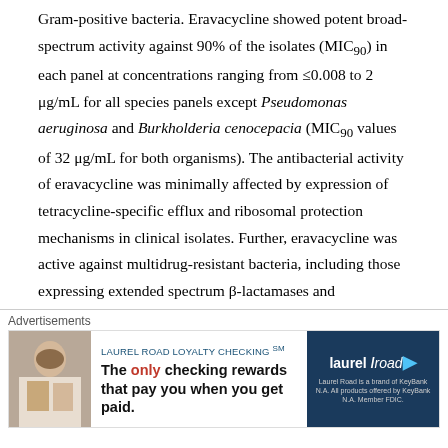Gram-positive bacteria. Eravacycline showed potent broad-spectrum activity against 90% of the isolates (MIC90) in each panel at concentrations ranging from ≤0.008 to 2 μg/mL for all species panels except Pseudomonas aeruginosa and Burkholderia cenocepacia (MIC90 values of 32 μg/mL for both organisms). The antibacterial activity of eravacycline was minimally affected by expression of tetracycline-specific efflux and ribosomal protection mechanisms in clinical isolates. Further, eravacycline was active against multidrug-resistant bacteria, including those expressing extended spectrum β-lactamases and mechanisms conferring resistance to other classes of antibiotics, including carbapenem resistance. Eravacycline has the potential to be a promising new IV/oral antibiotic
[Figure (other): Advertisement banner for Laurel Road Loyalty Checking. Shows a woman photo on left, text 'LAUREL ROAD LOYALTY CHECKING SM - The only checking rewards that pay you when you get paid.' in middle, and Laurel Road logo on the right.]